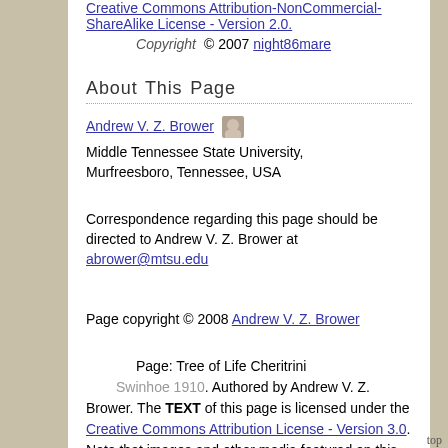Creative Commons Attribution-NonCommercial-ShareAlike License - Version 2.0.
Copyright © 2007 night86mare
About This Page
Andrew V. Z. Brower
Middle Tennessee State University, Murfreesboro, Tennessee, USA
Correspondence regarding this page should be directed to Andrew V. Z. Brower at abrower@mtsu.edu
Page copyright © 2008 Andrew V. Z. Brower
Page: Tree of Life Cheritrini Swinhoe 1910. Authored by Andrew V. Z. Brower. The TEXT of this page is licensed under the Creative Commons Attribution License - Version 3.0. Note that images and other media featured on this page are each governed by their